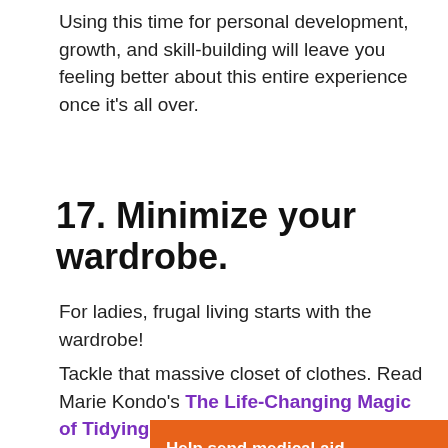Using this time for personal development, growth, and skill-building will leave you feeling better about this entire experience once it's all over.
17. Minimize your wardrobe.
For ladies, frugal living starts with the wardrobe!
Tackle that massive closet of clothes. Read Marie Kondo's The Life-Changing Magic of Tidying Up and discover which items you truly need.
[Figure (infographic): Orange banner advertisement for Direct Relief: 'Help send medical aid to Ukraine >>' with DirectRelief logo on the right.]